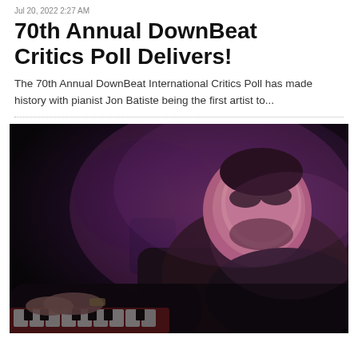Jul 20, 2022 2:27 AM
70th Annual DownBeat Critics Poll Delivers!
The 70th Annual DownBeat International Critics Poll has made history with pianist Jon Batiste being the first artist to...
[Figure (photo): A pianist with glasses and beard wearing a dark suit plays piano, leaning forward with intensity. A second person stands in the background, both lit by purple/pink stage lighting against a dark background.]